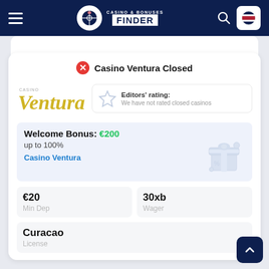Casino & Bonuses Finder
Casino Ventura Closed
[Figure (logo): Casino Ventura script logo in gold/yellow]
Editors' rating: We have not rated closed casinos
Welcome Bonus: €200
up to 100%
Casino Ventura
€20
Min Dep
30xb
Wager
Curacao
License